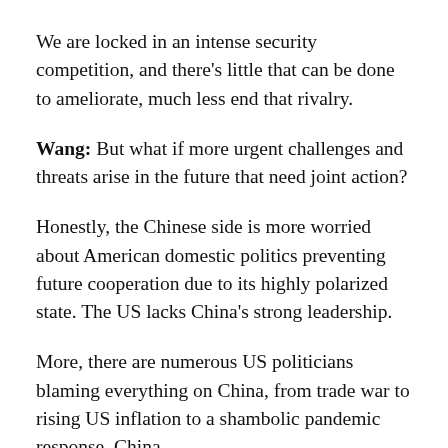We are locked in an intense security competition, and there's little that can be done to ameliorate, much less end that rivalry.
Wang: But what if more urgent challenges and threats arise in the future that need joint action?
Honestly, the Chinese side is more worried about American domestic politics preventing future cooperation due to its highly polarized state. The US lacks China's strong leadership.
More, there are numerous US politicians blaming everything on China, from trade war to rising US inflation to a shambolic pandemic response. China